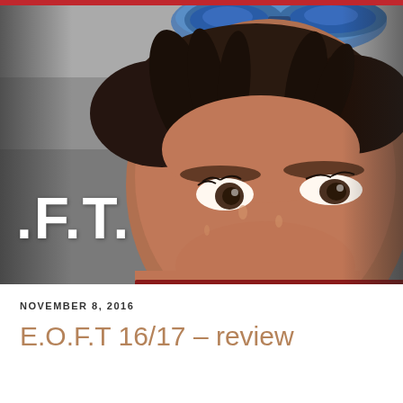[Figure (photo): Close-up photograph of a sweaty male athlete's face with blue goggles/swim cap pushed up on his forehead. Background is grey/overcast. Text '.F.T.' is overlaid in large white bold letters on the left side.]
NOVEMBER 8, 2016
E.O.F.T 16/17 – review